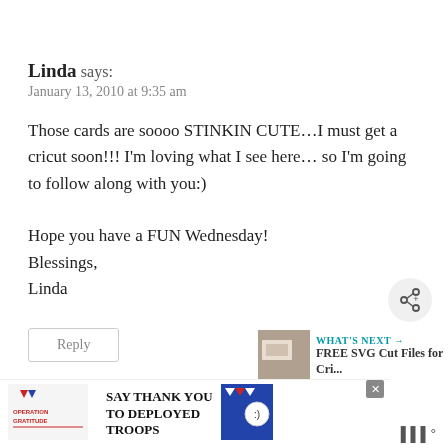Linda says:
January 13, 2010 at 9:35 am
Those cards are soooo STINKIN CUTE…I must get a cricut soon!!! I'm loving what I see here…so I'm going to follow along with you:)

Hope you have a FUN Wednesday!
Blessings,
Linda
[Figure (other): Share/social icon button (circular grey button with share symbol)]
[Figure (other): WHAT'S NEXT panel showing thumbnail image and text: FREE SVG Cut Files for Cri...]
Reply
[Figure (other): Advertisement banner: Operation Gratitude - SAY THANK YOU TO DEPLOYED TROOPS, with patriotic imagery]